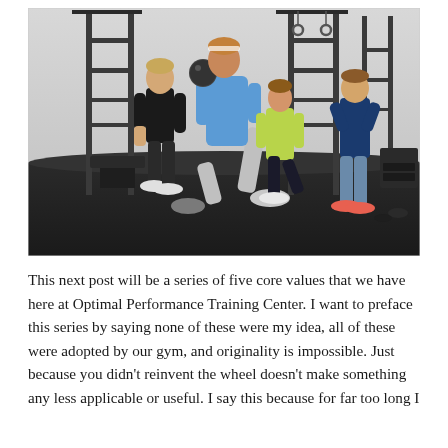[Figure (photo): Group of athletes training in a gym. A person in a blue shirt is doing a lunge while holding a medicine ball, a girl in a yellow top is doing a lunge behind them, a trainer in a black shirt stands to the left, and another person in a blue shirt stands to the right in front of power racks.]
This next post will be a series of five core values that we have here at Optimal Performance Training Center. I want to preface this series by saying none of these were my idea, all of these were adopted by our gym, and originality is impossible. Just because you didn't reinvent the wheel doesn't make something any less applicable or useful. I say this because for far too long I